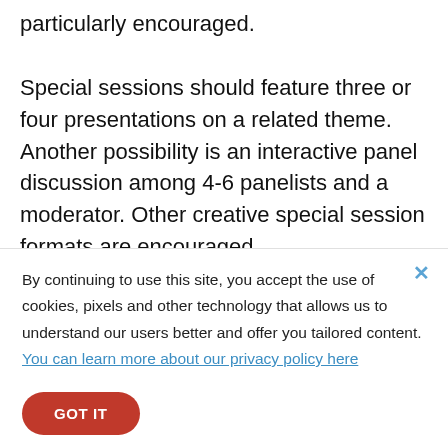particularly encouraged.
Special sessions should feature three or four presentations on a related theme. Another possibility is an interactive panel discussion among 4-6 panelists and a moderator. Other creative special session formats are encouraged,
By continuing to use this site, you accept the use of cookies, pixels and other technology that allows us to understand our users better and offer you tailored content. You can learn more about our privacy policy here
GOT IT